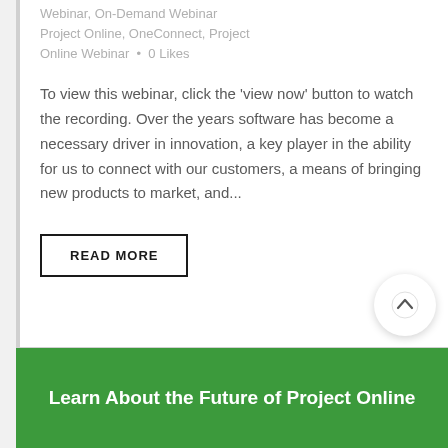Webinar, On-Demand Webinar Project Online, OneConnect, Project Online Webinar • 0 Likes
To view this webinar, click the 'view now' button to watch the recording. Over the years software has become a necessary driver in innovation, a key player in the ability for us to connect with our customers, a means of bringing new products to market, and...
READ MORE
[Figure (illustration): Circular scroll-to-top button with an upward arrow icon]
Learn About the Future of Project Online